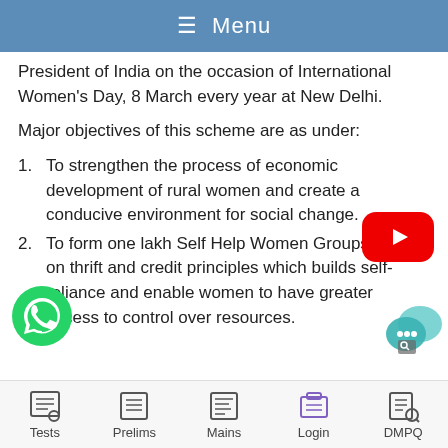☰ Menu
President of India on the occasion of International Women's Day, 8 March every year at New Delhi.
Major objectives of this scheme are as under:
1. To strengthen the process of economic development of rural women and create a conducive environment for social change.
2. To form one lakh Self Help Women Groups based on thrift and credit principles which builds self-reliance and enable women to have greater access to control over resources.
Tests  Prelims  Mains  Login  DMPQ